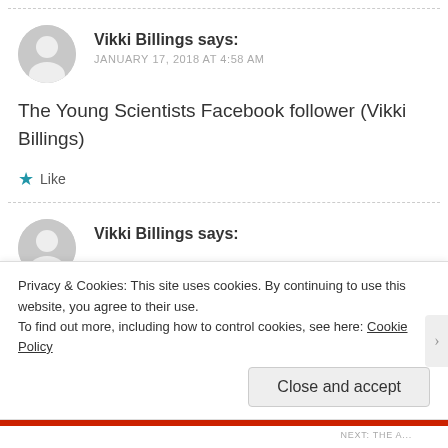Vikki Billings says:
JANUARY 17, 2018 AT 4:58 AM
The Young Scientists Facebook follower (Vikki Billings)
★ Like
Vikki Billings says:
Privacy & Cookies: This site uses cookies. By continuing to use this website, you agree to their use.
To find out more, including how to control cookies, see here: Cookie Policy
Close and accept